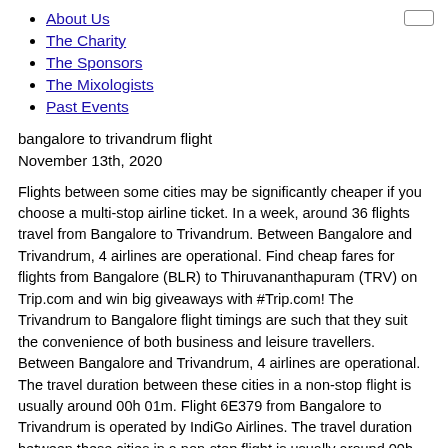About Us
The Charity
The Sponsors
The Mixologists
Past Events
bangalore to trivandrum flight
November 13th, 2020
Flights between some cities may be significantly cheaper if you choose a multi-stop airline ticket. In a week, around 36 flights travel from Bangalore to Trivandrum. Between Bangalore and Trivandrum, 4 airlines are operational. Find cheap fares for flights from Bangalore (BLR) to Thiruvananthapuram (TRV) on Trip.com and win big giveaways with #Trip.com! The Trivandrum to Bangalore flight timings are such that they suit the convenience of both business and leisure travellers. Between Bangalore and Trivandrum, 4 airlines are operational. The travel duration between these cities in a non-stop flight is usually around 00h 01m. Flight 6E379 from Bangalore to Trivandrum is operated by IndiGo Airlines. The travel duration between these cities in a non-stop flight is usually around 00h 01m. Flight deals from Bangalore to Thiruvananthapuram are great time of year. Find cheap flights from Bangalore to Thiruvananthapuram (Tivandrum), Kerala with the Opodo search engine. The nearest airport to Bangalore, is